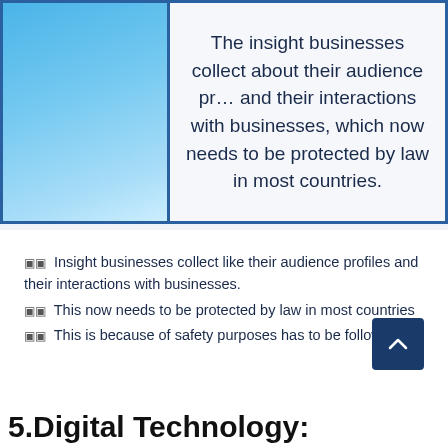[Figure (infographic): An infographic panel with a blue gradient box on the left and a text panel on the right reading: 'The insight businesses collect about their audience profiles and their interactions with businesses, which now needs to be protected by law in most countries.']
▣▣ Insight businesses collect like their audience profiles and their interactions with businesses.
▣▣ This now needs to be protected by law in most countries
▣▣ This is because of safety purposes has to be followed.
5.Digital Technology: